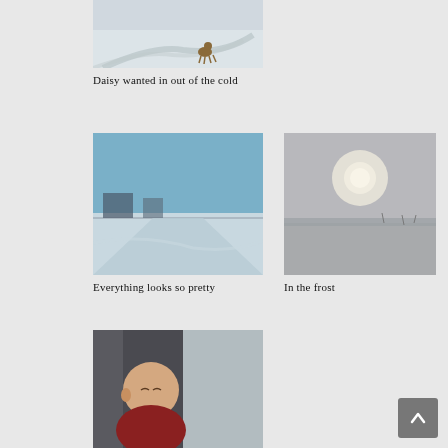[Figure (photo): A dog standing on a snowy field with curved tire tracks in the snow]
Daisy wanted in out of the cold
[Figure (photo): A winter landscape with snow-covered fields and bare trees under a blue sky, viewed from a moving vehicle]
Everything looks so pretty
[Figure (photo): A misty frost scene with the sun visible through haze over a flat snowy landscape]
In the frost
[Figure (photo): A baby sleeping in a car seat near a window, wearing a red outfit]